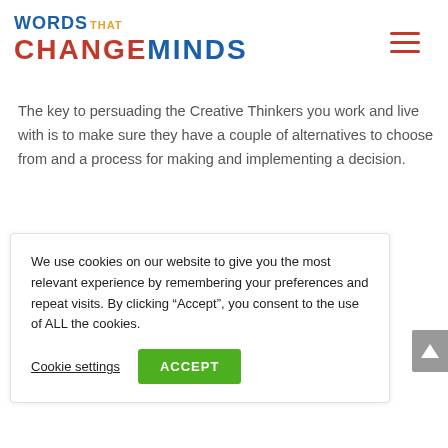[Figure (logo): Words That Change Minds logo with WORDS in blue, THAT in orange, CHANGE in red, MINDS in blue]
The key to persuading the Creative Thinkers you work and live with is to make sure they have a couple of alternatives to choose from and a process for making and implementing a decision.
We use cookies on our website to give you the most relevant experience by remembering your preferences and repeat visits. By clicking “Accept”, you consent to the use of ALL the cookies.
Cookie settings    ACCEPT